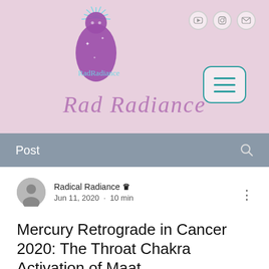[Figure (logo): Rad Radiance website header with pink background, purple meditating figure logo, social media icons (YouTube, Instagram, email), hamburger menu button with teal border, and cursive script 'Rad Radiance' brand name]
Post
Radical Radiance 👑
Jun 11, 2020 · 10 min
Mercury Retrograde in Cancer 2020: The Throat Chakra Activation of Maat